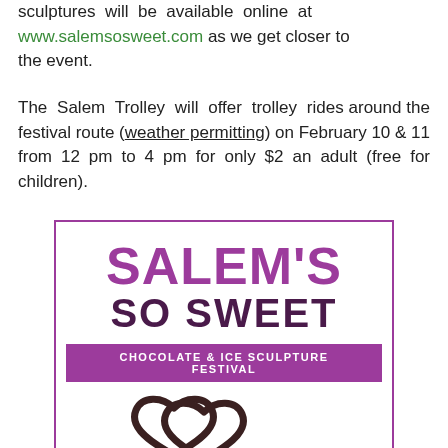sculptures will be available online at www.salemsosweet.com as we get closer to the event.
The Salem Trolley will offer trolley rides around the festival route (weather permitting) on February 10 & 11 from 12 pm to 4 pm for only $2 an adult (free for children).
[Figure (logo): Salem's So Sweet Chocolate & Ice Sculpture Festival logo — purple text reading SALEM'S SO SWEET with a purple banner reading CHOCOLATE & ICE SCULPTURE FESTIVAL and two chocolate heart outlines below.]